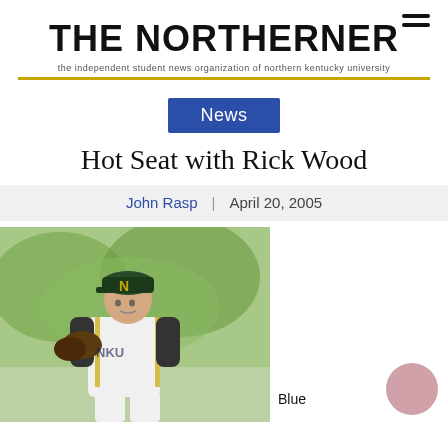THE NORTHERNER — the independent student news organization of northern kentucky university
News
Hot Seat with Rick Wood
John Rasp | April 20, 2005
[Figure (photo): Baseball pitcher in NKU uniform winding up to pitch, wearing dark cap with N logo and white/gold uniform]
Blue